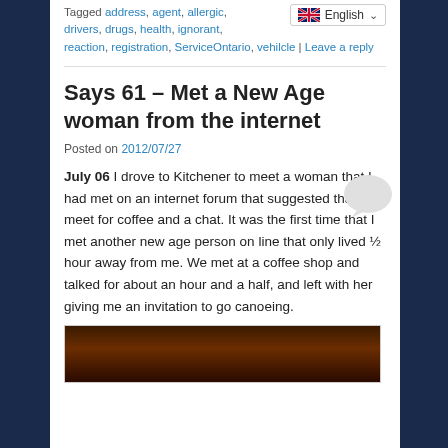Tagged address, agent, allergic, drivers, drugs, health, ignorant, reaction, registration, ServiceOntario, vehiclcle | Leave a reply
Says 61 – Met a New Age woman from the internet
Posted on 2012/07/27
July 06 I drove to Kitchener to meet a woman that I had met on an internet forum that suggested that we meet for coffee and a chat. It was the first time that I met another new age person on line that only lived ½ hour away from me. We met at a coffee shop and talked for about an hour and a half, and left with her giving me an invitation to go canoeing.
[Figure (photo): Dark close-up photo, appears to be an animal or person with warm orange/red tones]